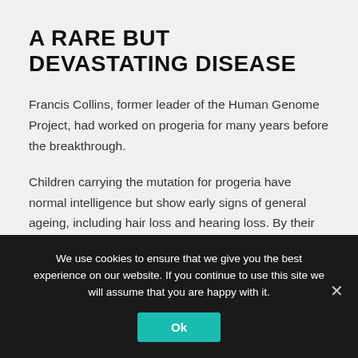A RARE BUT DEVASTATING DISEASE
Francis Collins, former leader of the Human Genome Project, had worked on progeria for many years before the breakthrough.
Children carrying the mutation for progeria have normal intelligence but show early signs of general ageing, including hair loss and hearing loss. By their teenage years they appear very old. Few live past the age of 13.
In 2003, Collins told how...
We use cookies to ensure that we give you the best experience on our website. If you continue to use this site we will assume that you are happy with it.